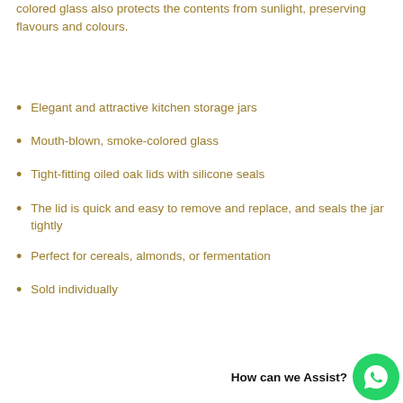colored glass also protects the contents from sunlight, preserving flavours and colours.
Elegant and attractive kitchen storage jars
Mouth-blown, smoke-colored glass
Tight-fitting oiled oak lids with silicone seals
The lid is quick and easy to remove and replace, and seals the jar tightly
Perfect for cereals, almonds, or fermentation
Sold individually
How can we Assist?